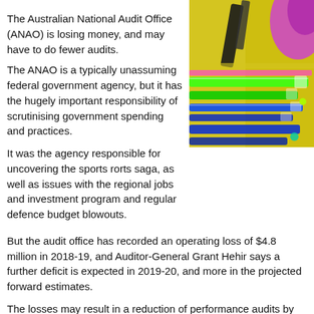The Australian National Audit Office (ANAO) is losing money, and may have to do fewer audits.
[Figure (photo): Abstract neon-coloured photo of pencils or pens arranged in a row on a yellow background, viewed at an angle, with vivid green, blue, and purple tones.]
The ANAO is a typically unassuming federal government agency, but it has the hugely important responsibility of scrutinising government spending and practices.
It was the agency responsible for uncovering the sports rorts saga, as well as issues with the regional jobs and investment program and regular defence budget blowouts.
But the audit office has recorded an operating loss of $4.8 million in 2018-19, and Auditor-General Grant Hehir says a further deficit is expected in 2019-20, and more in the projected forward estimates.
The losses may result in a reduction of performance audits by the office.
The public integrity body does not answer to a specific minister, but to the Joint Parliamentary Committee for Public Accounts.
Committee deputy chair and Labor MP Julian Hill has written to the